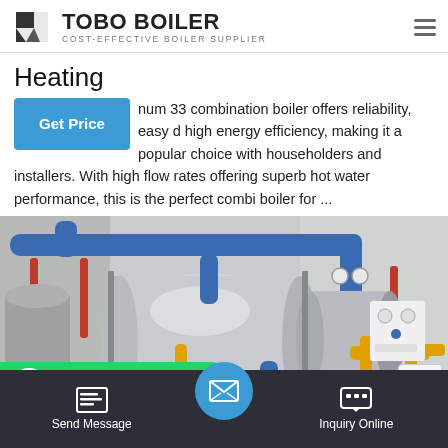TOBO BOILER — COST-EFFECTIVE BOILER SUPPLIER
Heating
num 33 combination boiler offers reliability, easy d high energy efficiency, making it a popular choice with householders and installers. With high flow rates offering superb hot water performance, this is the perfect combi boiler for ...
[Figure (photo): Industrial boiler room with large horizontal cylindrical boilers, blue and red pipes overhead, yellow gas pipes, gauges and control panels visible.]
Send Message | Inquiry Online